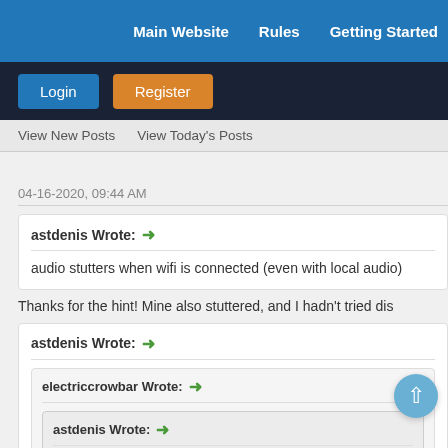Main Website   Rules   Getting Started
Login   Register
View New Posts   View Today's Posts
04-16-2020, 09:44 AM
astdenis Wrote: → audio stutters when wifi is connected (even with local audio)
Thanks for the hint! Mine also stuttered, and I hadn't tried dis
astdenis Wrote: → electriccrowbar Wrote: → astdenis Wrote: → Pairing also works with Manjaro. Selecting the A2DP prof